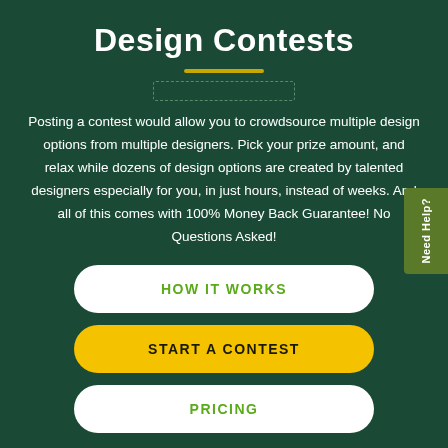Design Contests
Posting a contest would allow you to crowdsource multiple design options from multiple designers. Pick your prize amount, and relax while dozens of design options are created by talented designers especially for you, in just hours, instead of weeks. And all of this comes with 100% Money Back Guarantee! No Questions Asked!
HOW IT WORKS
START A CONTEST
PRICING